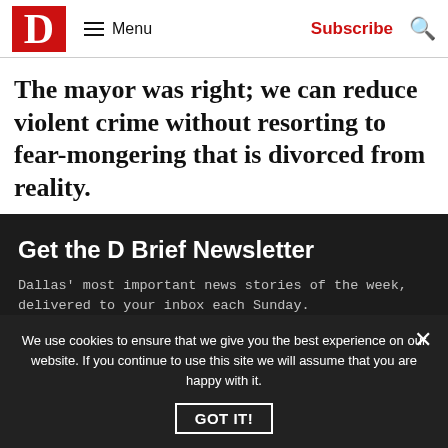D Magazine — Menu | Subscribe | Search
The mayor was right; we can reduce violent crime without resorting to fear-mongering that is divorced from reality.
Get the D Brief Newsletter
Dallas' most important news stories of the week, delivered to your inbox each Sunday.
Email*
We use cookies to ensure that we give you the best experience on our website. If you continue to use this site we will assume that you are happy with it.
GOT IT!